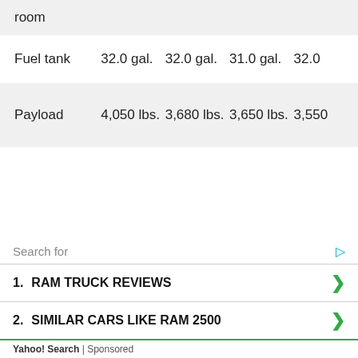| Fuel tank | 32.0 gal. | 32.0 gal. | 31.0 gal. | 32.0 |
| Payload | 4,050 lbs. | 3,680 lbs. | 3,650 lbs. | 3,550 |
Search for
1. RAM TRUCK REVIEWS
2. SIMILAR CARS LIKE RAM 2500
Yahoo! Search | Sponsored